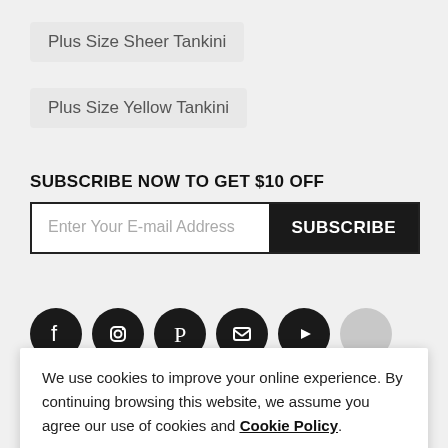Plus Size Sheer Tankini
Plus Size Yellow Tankini
SUBSCRIBE NOW TO GET $10 OFF
Enter Your E-mail Address   SUBSCRIBE
[Figure (illustration): Row of social media icons: Facebook, Instagram, Pinterest, Tumblr, YouTube, and one partially visible circle icon]
We use cookies to improve your online experience. By continuing browsing this website, we assume you agree our use of cookies and Cookie Policy.
Agree